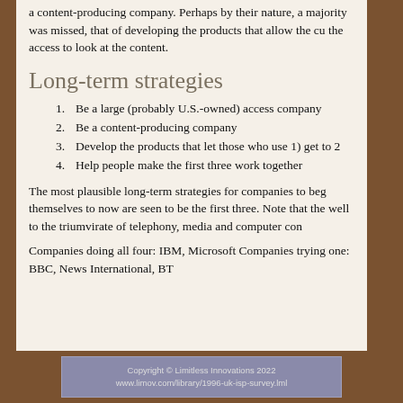a content-producing company. Perhaps by their nature, a majority was missed, that of developing the products that allow the cu the access to look at the content.
Long-term strategies
1. Be a large (probably U.S.-owned) access company
2. Be a content-producing company
3. Develop the products that let those who use 1) get to 2
4. Help people make the first three work together
The most plausible long-term strategies for companies to beg themselves to now are seen to be the first three. Note that the well to the triumvirate of telephony, media and computer con
Companies doing all four: IBM, Microsoft Companies trying one: BBC, News International, BT
Copyright © Limitless Innovations 2022
www.limov.com/library/1996-uk-isp-survey.lml